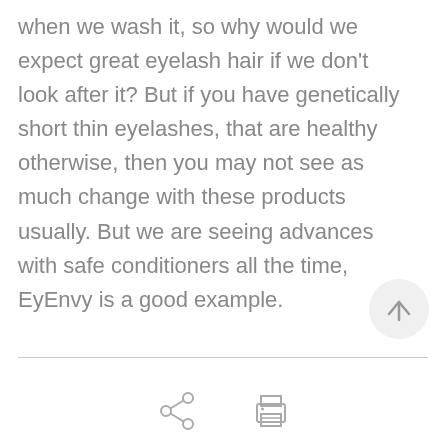when we wash it, so why would we expect great eyelash hair if we don't look after it? But if you have genetically short thin eyelashes, that are healthy otherwise, then you may not see as much change with these products usually. But we are seeing advances with safe conditioners all the time, EyEnvy is a good example.
[Figure (illustration): Scroll-to-top button: circular light grey button with upward arrow icon]
[Figure (illustration): Footer icons: share icon (circle-nodes) and print icon side by side]